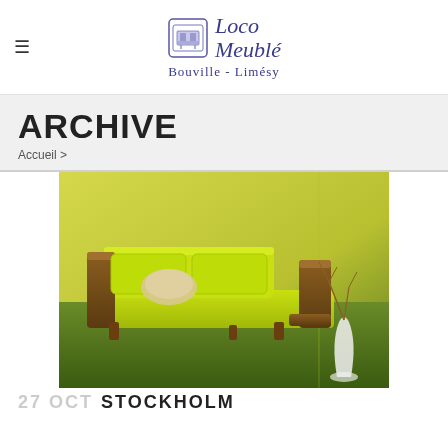Loco Meublé — Bouville - Limésy
ARCHIVE
Accueil >
[Figure (photo): A modern yellow-green sofa with wooden armrests and a beige throw pillow, set against a yellow-green wall with a white vase and bare branches in the background.]
27 OCT STOCKHOLM